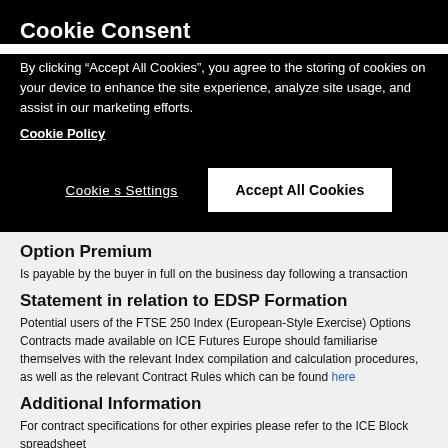Cookie Consent
By clicking “Accept All Cookies”, you agree to the storing of cookies on your device to enhance the site experience, analyze site usage, and assist in our marketing efforts.
Cookie Policy
Cookies Settings
Accept All Cookies
Option Premium
Is payable by the buyer in full on the business day following a transaction
Statement in relation to EDSP Formation
Potential users of the FTSE 250 Index (European-Style Exercise) Options Contracts made available on ICE Futures Europe should familiarise themselves with the relevant Index compilation and calculation procedures, as well as the relevant Contract Rules which can be found here
Additional Information
For contract specifications for other expiries please refer to the ICE Block spreadsheet